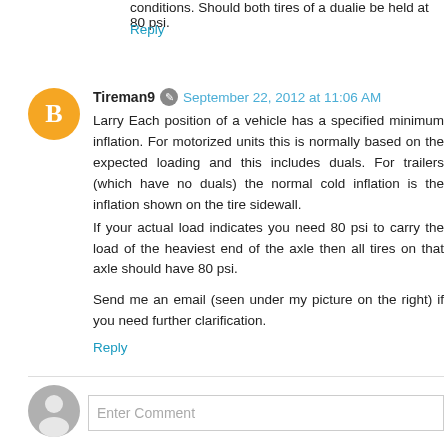conditions. Should both tires of a dualie be held at 80 psi.
Reply
Tireman9  September 22, 2012 at 11:06 AM
Larry Each position of a vehicle has a specified minimum inflation. For motorized units this is normally based on the expected loading and this includes duals. For trailers (which have no duals) the normal cold inflation is the inflation shown on the tire sidewall.
If your actual load indicates you need 80 psi to carry the load of the heaviest end of the axle then all tires on that axle should have 80 psi.

Send me an email (seen under my picture on the right) if you need further clarification.
Reply
Enter Comment